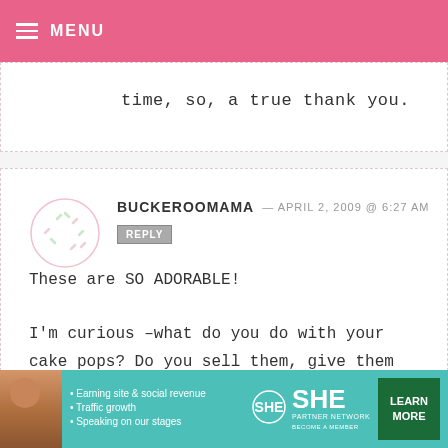MENU
time, so, a true thank you.
BUCKEROOMAMA — APRIL 2, 2009 @ 6:27 AM
REPLY

These are SO ADORABLE!

I'm curious –what do you do with your cake pops? Do you sell them, give them away or (gasp!) eat them all yourself? :)
[Figure (infographic): SHE Partner Network advertisement banner with photo of woman, bullet points about earning site & social revenue, traffic growth, speaking on stages, SHE logo, and Learn More button]